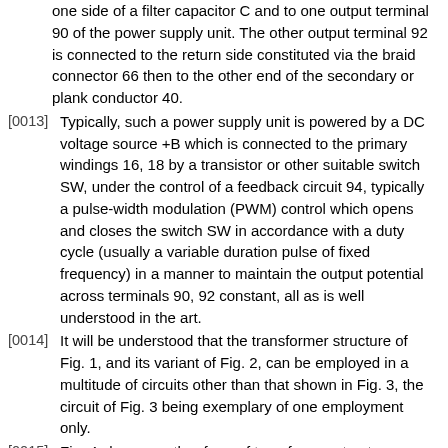one side of a filter capacitor C and to one output terminal 90 of the power supply unit. The other output terminal 92 is connected to the return side constituted via the braid connector 66 then to the other end of the secondary or plank conductor 40.
[0013] Typically, such a power supply unit is powered by a DC voltage source +B which is connected to the primary windings 16, 18 by a transistor or other suitable switch SW, under the control of a feedback circuit 94, typically a pulse-width modulation (PWM) control which opens and closes the switch SW in accordance with a duty cycle (usually a variable duration pulse of fixed frequency) in a manner to maintain the output potential across terminals 90, 92 constant, all as is well understood in the art.
[0014] It will be understood that the transformer structure of Fig. 1, and its variant of Fig. 2, can be employed in a multitude of circuits other than that shown in Fig. 3, the circuit of Fig. 3 being exemplary of one employment only.
[0015] Fig. 4 shows another form of transformer structure having a configuration especially useful